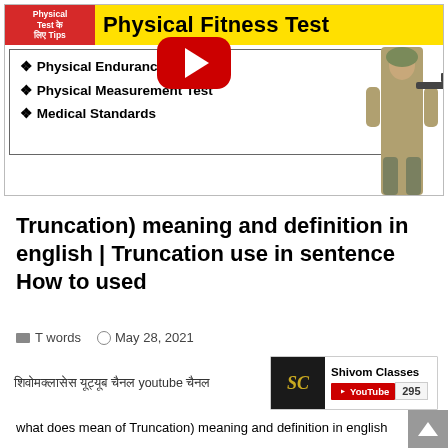[Figure (screenshot): YouTube video thumbnail for Physical Fitness Test with red banner on left reading 'Physical Test के लिए Tips', yellow title bar reading 'Physical Fitness Test', bullet list of Physical Endurance Test, Physical Measurement Test, Medical Standards, a YouTube play button, and a soldier figure on the right.]
Truncation) meaning and definition in english | Truncation use in sentence How to used
T words   May 28, 2021
[Figure (screenshot): Shivom Classes YouTube widget showing SC logo, channel name 'Shivom Classes', YouTube subscribe button, and subscriber count 295. Hindi text to the left reads: शिवोमक्लासेस यूट्यूब चैनल]
what does mean of Truncation) meaning and definition in english